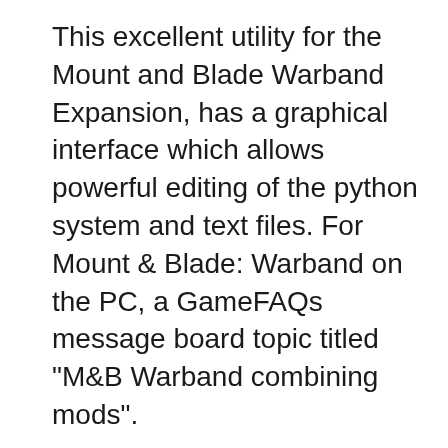This excellent utility for the Mount and Blade Warband Expansion, has a graphical interface which allows powerful editing of the python system and text files. For Mount & Blade: Warband on the PC, a GameFAQs message board topic titled "M&B Warband combining mods".
Mount & Blade: Warband 1.173 Patch Released M&B WARBAND January 17, 2018 Mount & Blade: Warband 1.173 is now live! If you have the game on Steam or GOG This is an overhaul for The Last Days mod of M & B Warband, which we're working on in order to make it look more like the Peter